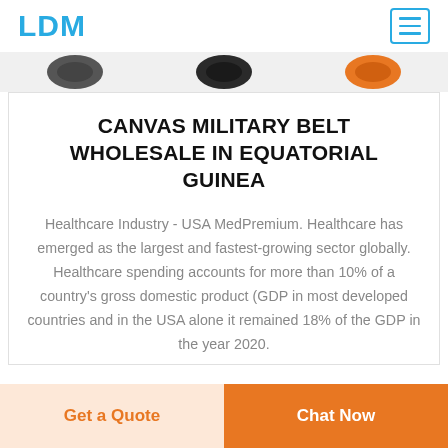LDM
[Figure (photo): Partial view of product images (belts) in a horizontal strip at top of page]
CANVAS MILITARY BELT WHOLESALE IN EQUATORIAL GUINEA
Healthcare Industry - USA MedPremium. Healthcare has emerged as the largest and fastest-growing sector globally. Healthcare spending accounts for more than 10% of a country's gross domestic product (GDP in most developed countries and in the USA alone it remained 18% of the GDP in the year 2020.
Get a Quote | Chat Now